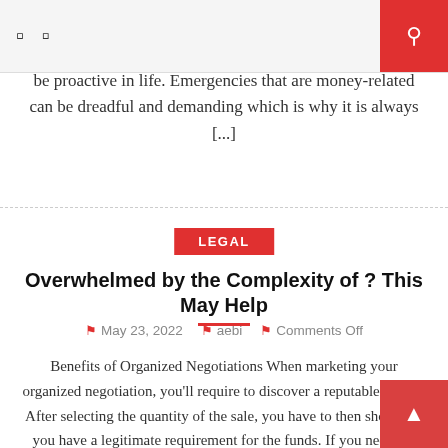[ icons ] [search button]
be proactive in life. Emergencies that are money-related can be dreadful and demanding which is why it is always [...]
LEGAL
Overwhelmed by the Complexity of ? This May Help
May 23, 2022   aebi   Comments Off
Benefits of Organized Negotiations When marketing your organized negotiation, you'll require to discover a reputable funder. After selecting the quantity of the sale, you have to then show that you have a legitimate requirement for the funds. If you need the cash quickly, a squander arrangement might be a feasible choice. In these situations, a [...]